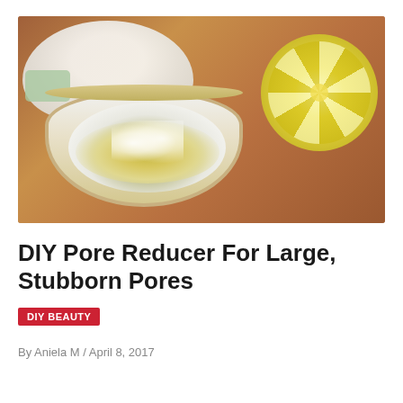[Figure (photo): A white bowl with gold rim containing a liquid mixture (likely a DIY face mask with lemon juice and other ingredients), a halved lemon on the right, a white cloth/towel in the background, and a small green soap bar on the left, all on a wooden surface.]
DIY Pore Reducer For Large, Stubborn Pores
DIY BEAUTY
By Aniela M / April 8, 2017